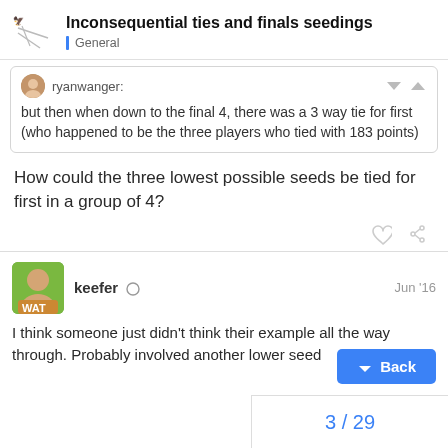Inconsequential ties and finals seedings — General
ryanwanger: but then when down to the final 4, there was a 3 way tie for first (who happened to be the three players who tied with 183 points)
How could the three lowest possible seeds be tied for first in a group of 4?
keefer  Jun '16
I think someone just didn't think their example all the way through. Probably involved another lower seed
3 / 29